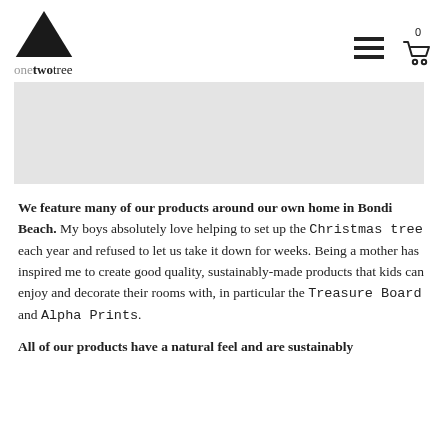onetwotree logo with navigation
[Figure (photo): Light grey banner/hero image area, partially showing a faint scene]
We feature many of our products around our own home in Bondi Beach. My boys absolutely love helping to set up the Christmas tree each year and refused to let us take it down for weeks. Being a mother has inspired me to create good quality, sustainably-made products that kids can enjoy and decorate their rooms with, in particular the Treasure Board and Alpha Prints.
All of our products have a natural feel and are sustainably